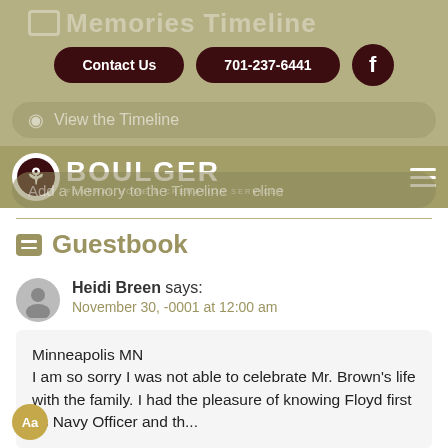Memories Timeline
[Figure (screenshot): Boulger Funeral Home & Cremation Services website header with navigation buttons (Contact Us, 701-237-6441, Facebook), View the Timeline bar, and Boulger logo with hamburger menu]
Guestbook
Heidi Breen says:
November 30, -0001 at 12:00 am
Minneapolis MN
I am so sorry I was not able to celebrate Mr. Brown's life with the family. I had the pleasure of knowing Floyd first as Navy Officer and th...